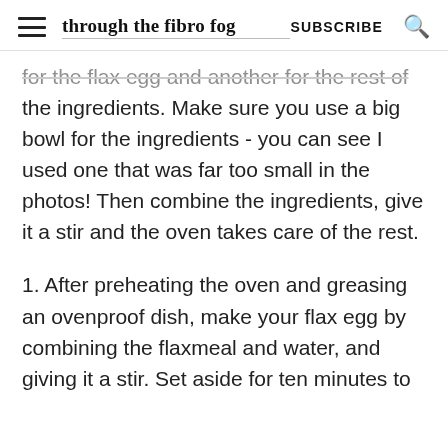through the fibro fog  SUBSCRIBE
for the flax egg and another for the rest of the ingredients. Make sure you use a big bowl for the ingredients - you can see I used one that was far too small in the photos! Then combine the ingredients, give it a stir and the oven takes care of the rest.
1. After preheating the oven and greasing an ovenproof dish, make your flax egg by combining the flaxmeal and water, and giving it a stir. Set aside for ten minutes to